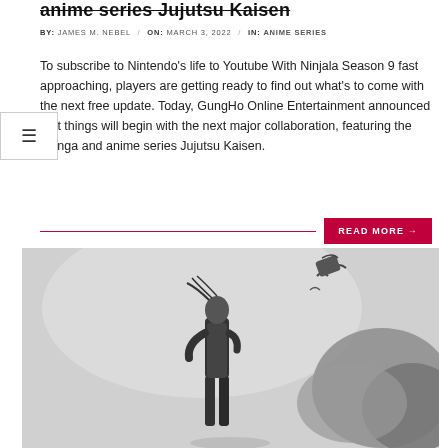anime series Jujutsu Kaisen
BY:  JAMES M. NEBEL  /  ON:  MARCH 3, 2022  /  IN:  ANIME SERIES
To subscribe to Nintendo's life to Youtube With Ninjala Season 9 fast approaching, players are getting ready to find out what's to come with the next free update. Today, GungHo Online Entertainment announced that things will begin with the next major collaboration, featuring the manga and anime series Jujutsu Kaisen.
READ MORE →
[Figure (illustration): Anime-style illustration in grayscale of a character standing with wind-blown hair, birds flying in the background and dark cloudy shapes on the right side.]